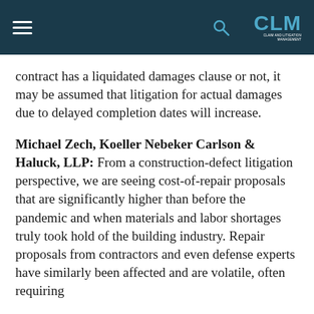CLM
contract has a liquidated damages clause or not, it may be assumed that litigation for actual damages due to delayed completion dates will increase.
Michael Zech, Koeller Nebeker Carlson & Haluck, LLP: From a construction-defect litigation perspective, we are seeing cost-of-repair proposals that are significantly higher than before the pandemic and when materials and labor shortages truly took hold of the building industry. Repair proposals from contractors and even defense experts have similarly been affected and are volatile, often requiring